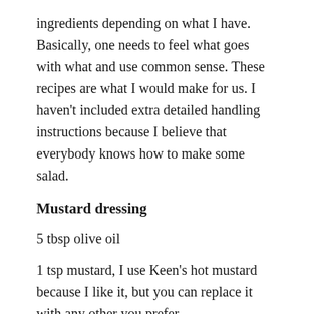ingredients depending on what I have. Basically, one needs to feel what goes with what and use common sense. These recipes are what I would make for us. I haven't included extra detailed handling instructions because I believe that everybody knows how to make some salad.
Mustard dressing
5 tbsp olive oil
1 tsp mustard, I use Keen's hot mustard because I like it, but you can replace it with any other you prefer
1 tbsp lemon juice